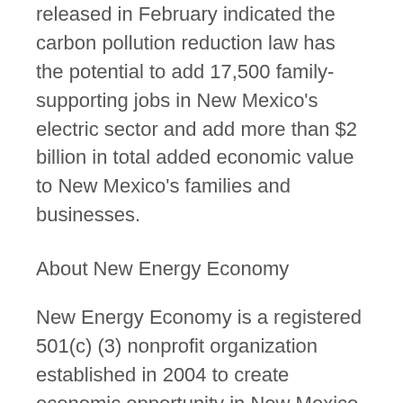released in February indicated the carbon pollution reduction law has the potential to add 17,500 family-supporting jobs in New Mexico's electric sector and add more than $2 billion in total added economic value to New Mexico's families and businesses.
About New Energy Economy
New Energy Economy is a registered 501(c) (3) nonprofit organization established in 2004 to create economic opportunity in New Mexico with less carbon pollution and more clean energy. New Energy Economy works in partnership with diverse allies to encourage job growth, investment and innovation in a more efficient,